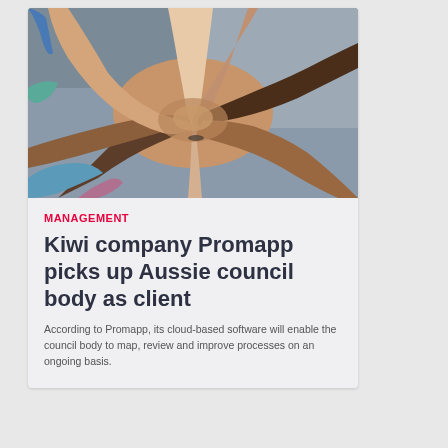[Figure (photo): Overhead view of multiple diverse hands joined together in the center, symbolizing teamwork and collaboration, against a gray background.]
MANAGEMENT
Kiwi company Promapp picks up Aussie council body as client
According to Promapp, its cloud-based software will enable the council body to map, review and improve processes on an ongoing basis.